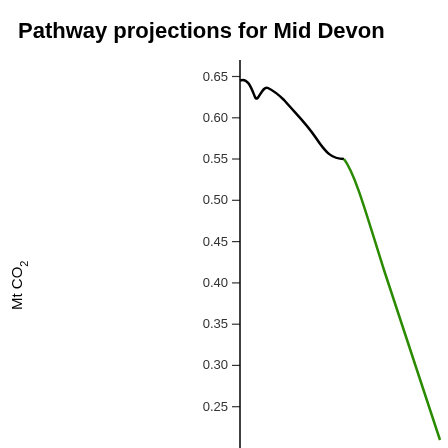[Figure (continuous-plot): Line chart showing pathway projections for Mid Devon. A black line from approximately 2005 to 2020 starts near 0.645 Mt CO2, dips slightly around 0.62, rises slightly to ~0.63, then steadily decreases to about 0.53 by 2020. A green line continues from 2020 downward steeply, reaching about 0.22 by the bottom of the visible chart area (~2035+). Y-axis ranges from about 0.22 to 0.65 Mt CO2, with gridlines at 0.25, 0.30, 0.35, 0.40, 0.45, 0.50, 0.55, 0.60, 0.65.]